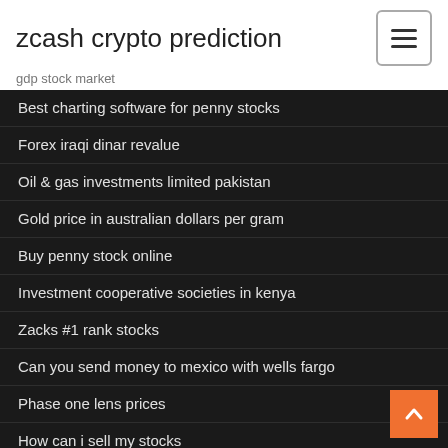zcash crypto prediction
gdp stock market
Best charting software for penny stocks
Forex iraqi dinar revalue
Oil & gas investments limited pakistan
Gold price in australian dollars per gram
Buy penny stock online
Investment cooperative societies in kenya
Zacks #1 rank stocks
Can you send money to mexico with wells fargo
Phase one lens prices
How can i sell my stocks